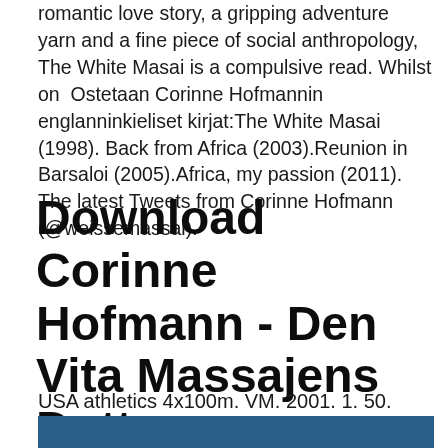romantic love story, a gripping adventure yarn and a fine piece of social anthropology, The White Masai is a compulsive read. Whilst on  Ostetaan Corinne Hofmannin englanninkieliset kirjat:The White Masai (1998). Back from Africa (2003).Reunion in Barsaloi (2005).Africa, my passion (2011). The latest Tweets from Corinne Hofmann (@weissemassai).
Download Corinne Hofmann - Den Vita Massajens Dotter
USA athletics 4x100m. VM. 2001. 1. 50.
[Figure (other): Dark teal/blue horizontal bar at the bottom of the page]